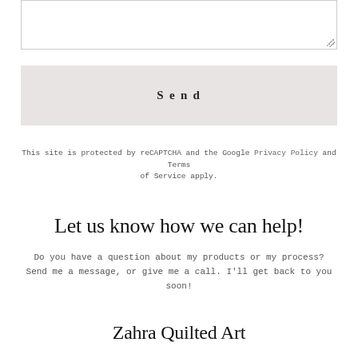[Figure (other): Empty textarea input box with resize handle in bottom-right corner]
Send
This site is protected by reCAPTCHA and the Google Privacy Policy and Terms of Service apply.
Let us know how we can help!
Do you have a question about my products or my process? Send me a message, or give me a call. I'll get back to you soon!
Zahra Quilted Art